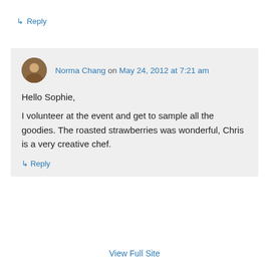↳ Reply
Norma Chang on May 24, 2012 at 7:21 am

Hello Sophie,
I volunteer at the event and get to sample all the goodies. The roasted strawberries was wonderful, Chris is a very creative chef.

↳ Reply
View Full Site